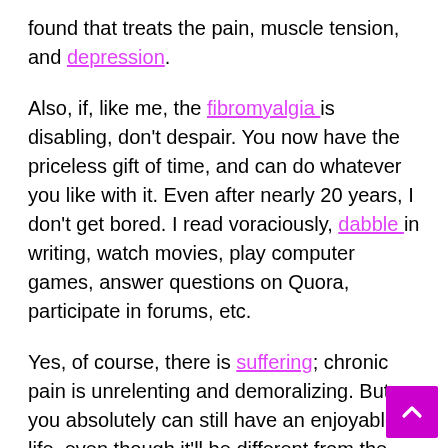found that treats the pain, muscle tension, and depression. Also, if, like me, the fibromyalgia is disabling, don't despair. You now have the priceless gift of time, and can do whatever you like with it. Even after nearly 20 years, I don't get bored. I read voraciously, dabble in writing, watch movies, play computer games, answer questions on Quora, participate in forums, etc. Yes, of course, there is suffering; chronic pain is unrelenting and demoralizing. But you absolutely can still have an enjoyable life, even though it'll be different from the one you planned. In the hope that fibromyalgia...